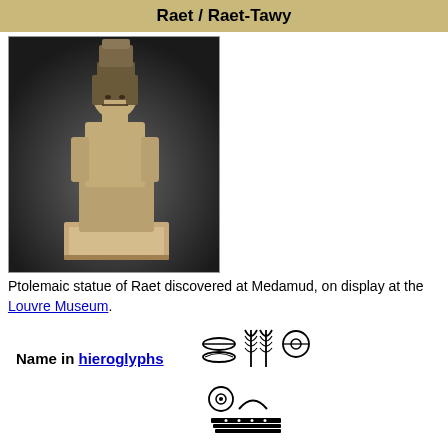Raet / Raet-Tawy
[Figure (photo): Ptolemaic statue of Raet, a seated Egyptian deity figure, stone colored statue on a pedestal against dark background]
Ptolemaic statue of Raet discovered at Medamud, on display at the Louvre Museum.
[Figure (other): Hieroglyphs representing the name of Raet - first set of hieroglyphs]
Name in hieroglyphs
[Figure (other): Hieroglyphs representing the name of Raet - second set of hieroglyphs]
Major cult center  Medamud, el Tod, Thebes